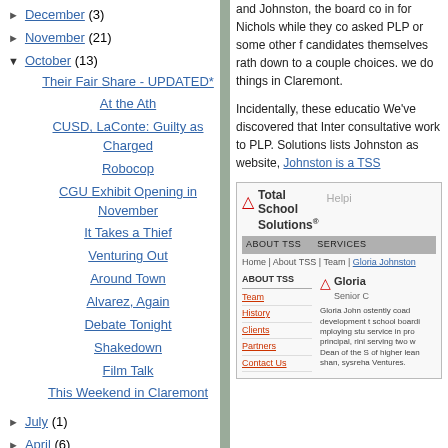► December (3)
► November (21)
▼ October (13)
Their Fair Share - UPDATED*
At the Ath
CUSD, LaConte: Guilty as Charged
Robocop
CGU Exhibit Opening in November
It Takes a Thief
Venturing Out
Around Town
Alvarez, Again
Debate Tonight
Shakedown
Film Talk
This Weekend in Claremont
► July (1)
► April (6)
and Johnston, the board co in for Nichols while they co asked PLP or some other f candidates themselves rath down to a couple choices. we do things in Claremont.
Incidentally, these educatio We've discovered that Inter consultative work to PLP. Solutions lists Johnston as website, Johnston is a TSS
[Figure (screenshot): Screenshot of Total School Solutions website showing Gloria Johnston's profile page with navigation, logo, sidebar links (Team, History, Clients, Partners, Contact Us), and bio text.]